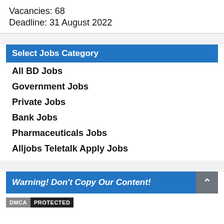Vacancies: 68
Deadline: 31 August 2022
Select Jobs Category
All BD Jobs
Government Jobs
Private Jobs
Bank Jobs
Pharmaceuticals Jobs
Alljobs Teletalk Apply Jobs
Warning! Don't Copy Our Content!
DMCA PROTECTED